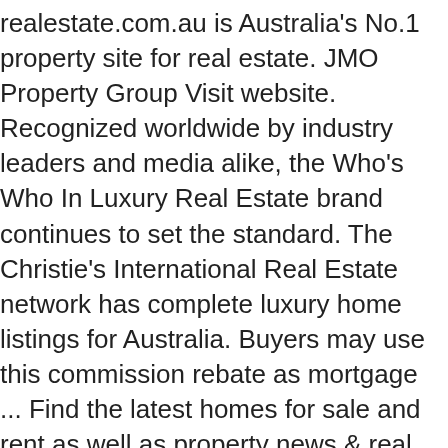realestate.com.au is Australia's No.1 property site for real estate. JMO Property Group Visit website. Recognized worldwide by industry leaders and media alike, the Who's Who In Luxury Real Estate brand continues to set the standard. The Christie's International Real Estate network has complete luxury home listings for Australia. Buyers may use this commission rebate as mortgage ... Find the latest homes for sale and rent as well as property news & real estate market data. View castle mansions, island homes, golf estates, villas or hotels. PropGOLuxury offers the greatest selection of Australia luxury homes for sale and Australia luxury homes for rent on a convenient property listing portal. Homes listings include vacation homes, apartments, penthouses, luxury retreats, lake homes, ski chalets, villas, and many more lifestyle options. South Australia's top luxury house sales of 2020. Clever partners with luxury real estate agents who work under major brokerages in all markets. Connect to real estate Agents in Queensland, Australia on CENTURY 21 Global. Founded in 1976